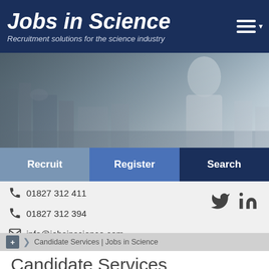Jobs in Science
Recruitment solutions for the science industry
[Figure (photo): Black and white photo of a scientist working in a laboratory]
Recruit | Register | Search
01827 312 411
01827 312 394
info@jobsinscience.com
Candidate Services | Jobs in Science
Candidate Services